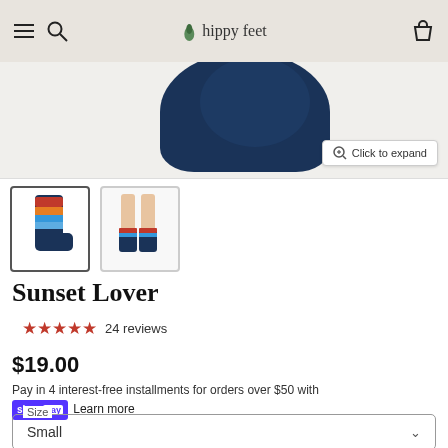hippy feet
[Figure (photo): Product hero image showing bundled navy blue socks, cropped view]
[Figure (photo): Thumbnail 1: colorful striped sock standing alone (selected)]
[Figure (photo): Thumbnail 2: person's legs wearing the socks]
Sunset Lover
★★★★★ 24 reviews
$19.00
Pay in 4 interest-free installments for orders over $50 with shop Pay Learn more
Size – Small